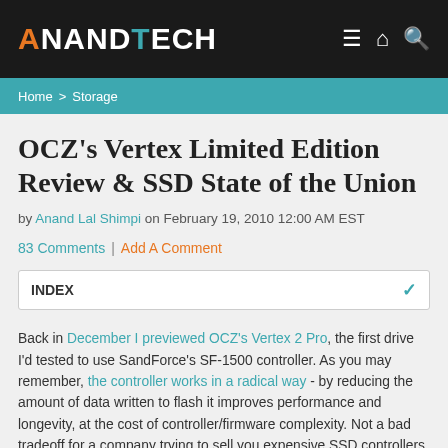AnandTech — navigation header with logo and icons
Home > Storage
OCZ's Vertex Limited Edition Review & SSD State of the Union
by Anand Lal Shimpi on February 19, 2010 12:00 AM EST
83 Comments | Add A Comment
INDEX
Back in December I previewed OCZ's Vertex 2 Pro, the first drive I'd tested to use SandForce's SF-1500 controller. As you may remember, the controller works in a radical way - by reducing the amount of data written to flash it improves performance and longevity, at the cost of controller/firmware complexity. Not a bad tradeoff for a company trying to sell you expensive SSD controllers. If you want to know more about how it works, I'd suggest